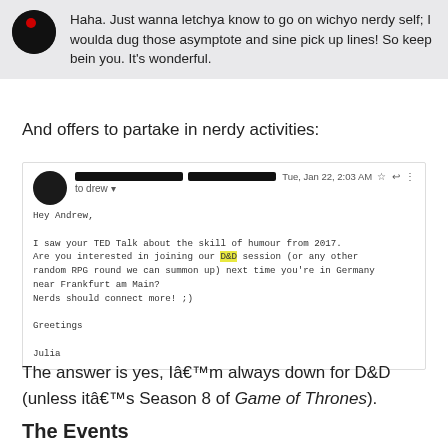[Figure (screenshot): Chat message bubble with avatar showing text: 'Haha. Just wanna letchya know to go on wichyo nerdy self; I woulda dug those asymptote and sine pick up lines! So keep bein you. It's wonderful.']
And offers to partake in nerdy activities:
[Figure (screenshot): Email screenshot from Gmail. Sender name redacted. Date: Tue, Jan 22, 2:03 AM. To: drew. Body: 'Hey Andrew, I saw your TED Talk about the skill of humour from 2017. Are you interested in joining our D&D session (or any other random RPG round we can summon up) next time you're in Germany near Frankfurt am Main? Nerds should connect more! ;) Greetings Julia']
The answer is yes, Iâm always down for D&D (unless itâs Season 8 of Game of Thrones).
The Events